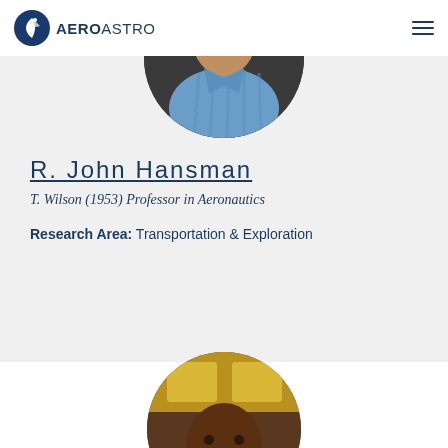AeroAstro
[Figure (photo): Circular portrait photo of R. John Hansman wearing a blue shirt, cropped at top of frame]
R. John Hansman
T. Wilson (1953) Professor in Aeronautics
Research Area: Transportation & Exploration
[Figure (photo): Circular portrait photo of a second faculty member, partially visible at bottom of page]